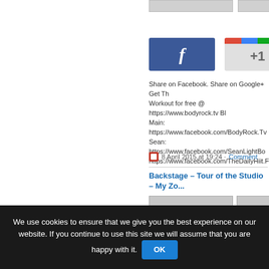[Figure (screenshot): Top placeholder thumbnail boxes]
[Figure (screenshot): Facebook and Google+1 social share buttons (top pair)]
Share on Facebook. Share on Google+ Get The Workout for free @ https://www.bodyrock.tv Bl... Main: https://www.facebook.com/BodyRock.Tv... Sean: https://www.facebook.com/SeanLightBo... https://www.facebook.com/TheDailyHiit.Freddy...
8 April 2015 at 19:24 · Comment
Backstage – Tour of the Studio – My Zo...
[Figure (screenshot): Two video thumbnail placeholders with loading dots icon]
[Figure (screenshot): Facebook and Google+1 social share buttons (bottom pair)]
We use cookies to ensure that we give you the best experience on our website. If you continue to use this site we will assume that you are happy with it.